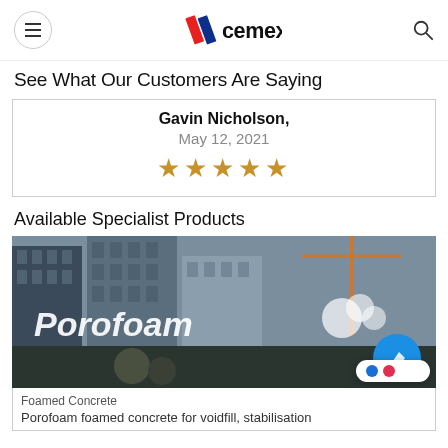CEMEX navigation bar with hamburger menu and search icon
See What Our Customers Are Saying
Gavin Nicholson, May 12, 2021 ★★★★★
Available Specialist Products
[Figure (photo): Construction site background image with Porofoam product branding overlay, showing urban building construction with cranes and workers]
Foamed Concrete
Porofoam foamed concrete for voidfill, stabilisation